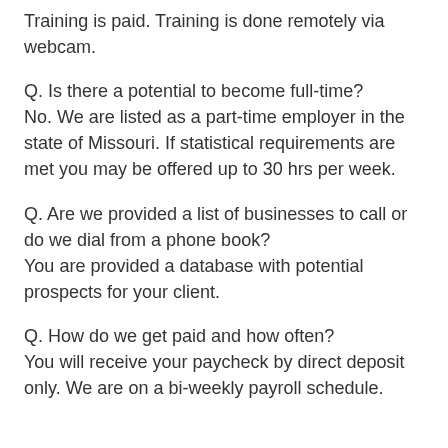Training is paid. Training is done remotely via webcam.
Q. Is there a potential to become full-time? No. We are listed as a part-time employer in the state of Missouri. If statistical requirements are met you may be offered up to 30 hrs per week.
Q. Are we provided a list of businesses to call or do we dial from a phone book? You are provided a database with potential prospects for your client.
Q. How do we get paid and how often? You will receive your paycheck by direct deposit only. We are on a bi-weekly payroll schedule.